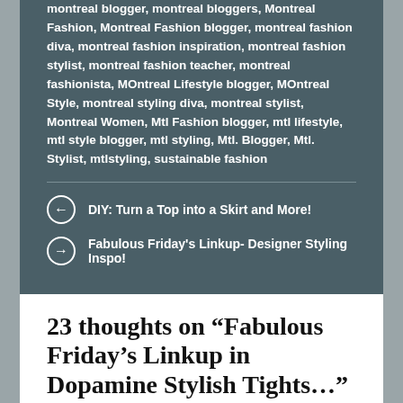montreal blogger, montreal bloggers, Montreal Fashion, Montreal Fashion blogger, montreal fashion diva, montreal fashion inspiration, montreal fashion stylist, montreal fashion teacher, montreal fashionista, MOntreal Lifestyle blogger, MOntreal Style, montreal styling diva, montreal stylist, Montreal Women, Mtl Fashion blogger, mtl lifestyle, mtl style blogger, mtl styling, Mtl. Blogger, Mtl. Stylist, mtlstyling, sustainable fashion
DIY: Turn a Top into a Skirt and More!
Fabulous Friday's Linkup- Designer Styling Inspo!
23 thoughts on "Fabulous Friday's Linkup in Dopamine Stylish Tights..."